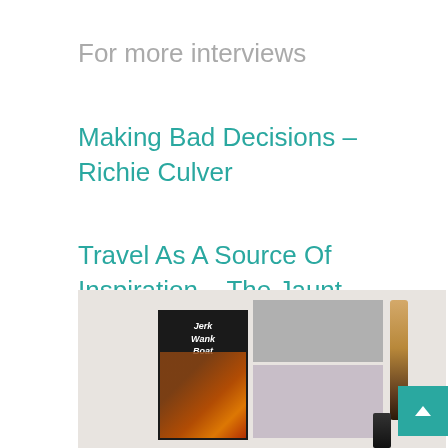For more interviews
Making Bad Decisions – Richie Culver
Travel As A Source Of Inspiration – The Jaunt
[Figure (photo): Photograph of two zines/booklets laid flat on a white surface alongside a wooden stick/brush and a lighter. The left booklet has a dark cover with stylized text reading 'Jerk Wank Boat' and a provocative image. The right booklet appears to be open showing magazine-clipped images in black and white.]